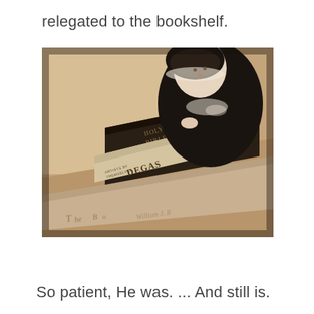relegated to the bookshelf.
[Figure (photo): Sepia-toned photograph of a porcelain doll in Victorian dress sitting atop a stack of books including a Holy Bible (King James Version) and a book about Degas (Artists by Themselves), with another large book partially visible below reading 'The Bo... William J. R...']
So patient, He was. ... And still is.